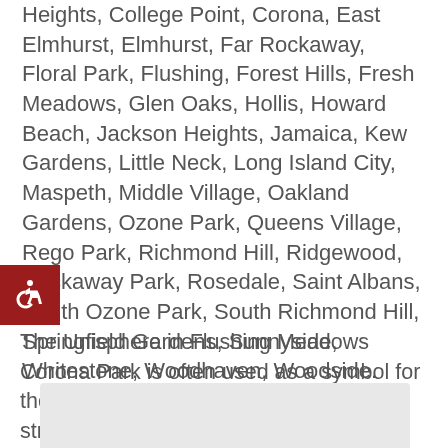Heights, College Point, Corona, East Elmhurst, Elmhurst, Far Rockaway, Floral Park, Flushing, Forest Hills, Fresh Meadows, Glen Oaks, Hollis, Howard Beach, Jackson Heights, Jamaica, Kew Gardens, Little Neck, Long Island City, Maspeth, Middle Village, Oakland Gardens, Ozone Park, Queens Village, Rego Park, Richmond Hill, Ridgewood, Rockaway Park, Rosedale, Saint Albans, South Ozone Park, South Richmond Hill, Springfield Gardens, Sunnyside, Whitestone, Woodhaven, Woodside.
[Figure (illustration): Accessibility icon — white wheelchair symbol on dark red background]
The Unisphere in Flushing Meadows Corona Park is often used as a symbol for the borough. This and a few other structures are left over from the 1964 World's Fair. The Arthur Ashe Stadium, home to the US Open Tennis tournament is located at the edge of the park. CitiField (home of the Mets) is also located in Queens.
[Figure (photo): Image placeholder — light gray rectangle at bottom of page]